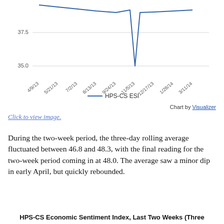[Figure (continuous-plot): Partial line chart showing HPS-CS ESI values. Y-axis shows values 35.0 and 37.5 visible. X-axis shows dates from 4/9/13 to 3/11/14. A blue line dips sharply around 11/5/13 then recovers. Legend shows HPS-CS ESI.]
Chart by Visualizer
Click to view image.
During the two-week period, the three-day rolling average fluctuated between 46.8 and 48.3, with the final reading for the two-week period coming in at 48.0. The average saw a minor dip in early April, but quickly rebounded.
HPS-CS Economic Sentiment Index, Last Two Weeks (Three